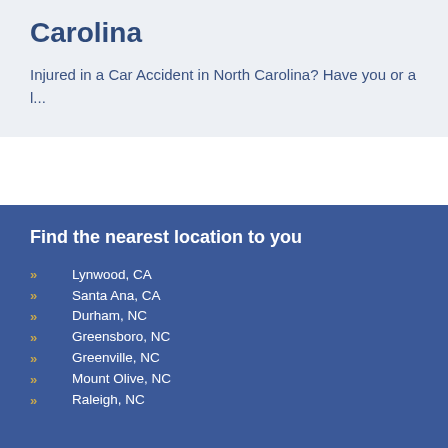Carolina
Injured in a Car Accident in North Carolina? Have you or a l...
Find the nearest location to you
Lynwood, CA
Santa Ana, CA
Durham, NC
Greensboro, NC
Greenville, NC
Mount Olive, NC
Raleigh, NC